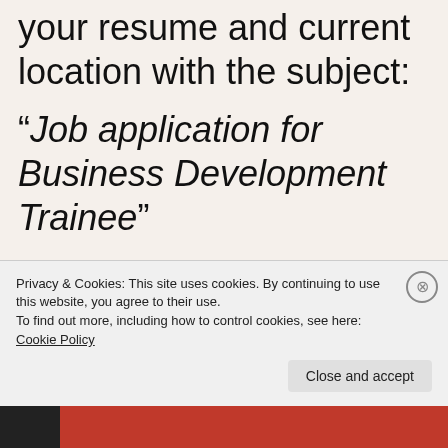your resume and current location with the subject:
“Job application for Business Development Trainee”
I will send across the salary details and the next step of the i...
Privacy & Cookies: This site uses cookies. By continuing to use this website, you agree to their use.
To find out more, including how to control cookies, see here: Cookie Policy
Close and accept